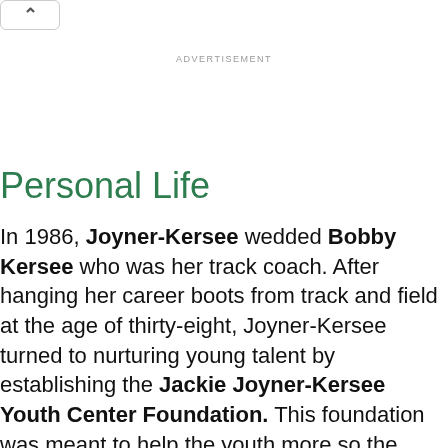ADVERTISEMENT
Personal Life
In 1986, Joyner-Kersee wedded Bobby Kersee who was her track coach. After hanging her career boots from track and field at the age of thirty-eight, Joyner-Kersee turned to nurturing young talent by establishing the Jackie Joyner-Kersee Youth Center Foundation. This foundation was meant to help the youth more so the disadvantaged in engaging in sports. In 2012, she became a board member of USA Track & Field group...